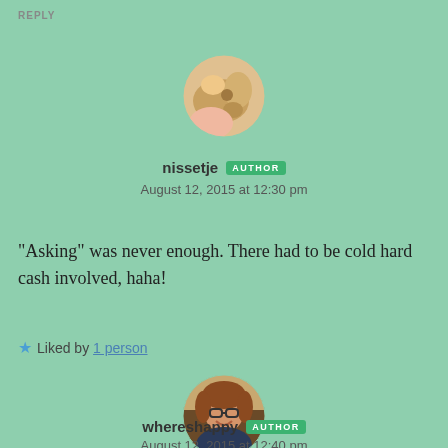REPLY
[Figure (photo): Circular avatar photo of nissetje showing what appears to be a hand holding a potato or similar object]
nissetje AUTHOR
August 12, 2015 at 12:30 pm
“Asking” was never enough. There had to be cold hard cash involved, haha!
★ Liked by 1 person
[Figure (photo): Circular avatar photo of whereshappy showing a woman with glasses smiling]
whereshappy AUTHOR
August 12, 2015 at 12:40 pm